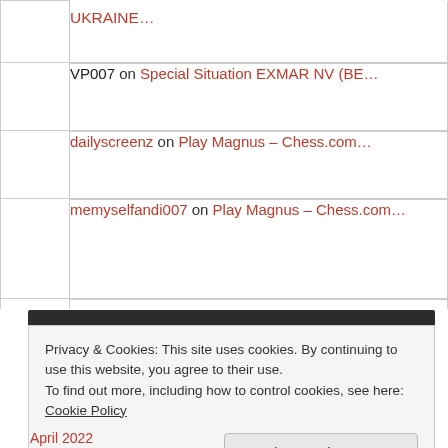VP007 on Special Situation EXMAR NV (BE…
dailyscreenz on Play Magnus – Chess.com…
memyselfandi007 on Play Magnus – Chess.com…
memyselfandi007 on Play Magnus – Chess.com…
Privacy & Cookies: This site uses cookies. By continuing to use this website, you agree to their use.
To find out more, including how to control cookies, see here: Cookie Policy
Close and accept
April 2022